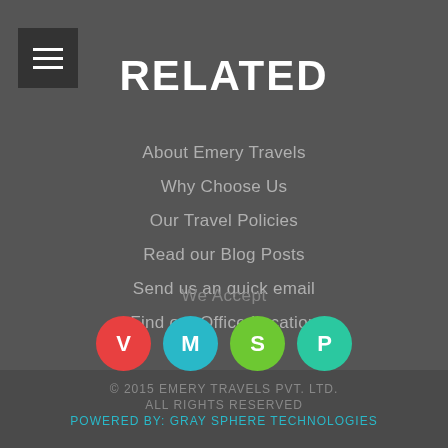[Figure (other): Hamburger menu button with three horizontal white lines on dark background]
RELATED
About Emery Travels
Why Choose Us
Our Travel Policies
Read our Blog Posts
Send us an quick email
Find our Office Location
We Accept
[Figure (other): Four colored circles with letters V (red), M (cyan), S (green), P (teal) representing payment methods]
© 2015 EMERY TRAVELS PVT. LTD.
ALL RIGHTS RESERVED
POWERED BY: GRAY SPHERE TECHNOLOGIES